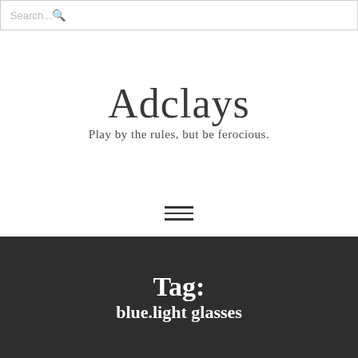Search...
Adclays
Play by the rules, but be ferocious.
[Figure (other): Hamburger menu icon with three horizontal lines]
Tag: blue.light glasses